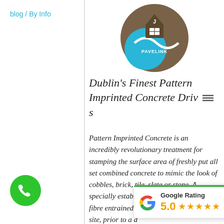blog / By Info
[Figure (logo): Pavelink logo — circular design with a house icon in brown and a blue wave shape, with text PAVELINK]
Dublin's Finest Pattern Imprinted Concrete Driveways
Pattern Imprinted Concrete is an incredibly revolutionary treatment for stamping the surface area of freshly put all set combined concrete to mimic the look of cobbles, brick, tile, slate or stone. A specially established, greater strength, fibre entrained concrete is delivered to site, prior to a d... is then drifted i... concrete wants that imprinted with
[Figure (other): Google Rating card showing 5.0 rating with five gold stars]